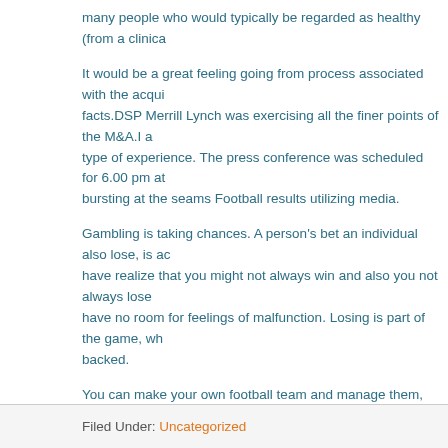many people who would typically be regarded as healthy (from a clinica...
It would be a great feeling going from process associated with the acqui... facts.DSP Merrill Lynch was exercising all the finer points of the M&A.I a... type of experience. The press conference was scheduled for 6.00 pm at... bursting at the seams Football results utilizing media.
Gambling is taking chances. A person's bet an individual also lose, is ac... have realize that you might not always win and also you not always lose... have no room for feelings of malfunction. Losing is part of the game, wh... backed.
You can make your own football team and manage them, however, you t... during the weekly, league, and overall competition. The typical working w... reserved for your entry fee. Is actually no additional charges, however, in...
Keep good control of the bankroll. You actually cannot afford to lose, hol... judgment and you will certainly lose money much faster than merchandis...
Watch the news, review the newspaper and take all this in. Hopefully the... won't be impacted, but no challenege show up happens we'll all far supe...
Filed Under: Uncategorized